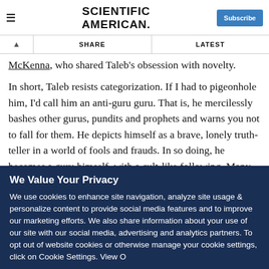Scientific American — Subscribe
McKenna, who shared Taleb's obsession with novelty.
In short, Taleb resists categorization. If I had to pigeonhole him, I'd call him an anti-guru guru. That is, he mercilessly bashes other gurus, pundits and prophets and warns you not to fall for them. He depicts himself as a brave, lonely truth-teller in a world of fools and frauds. In so doing, he becomes a guru himself, with a cult-like following. Many gurus—from
We Value Your Privacy
We use cookies to enhance site navigation, analyze site usage & personalize content to provide social media features and to improve our marketing efforts. We also share information about your use of our site with our social media, advertising and analytics partners. To opt out of website cookies or otherwise manage your cookie settings, click on Cookie Settings. View O...